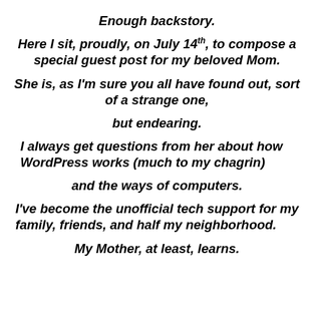Enough backstory.
Here I sit, proudly, on July 14th, to compose a special guest post for my beloved Mom.
She is, as I'm sure you all have found out, sort of a strange one,
but endearing.
I always get questions from her about how WordPress works (much to my chagrin)
and the ways of computers.
I've become the unofficial tech support for my family, friends, and half my neighborhood.
My Mother, at least, learns.